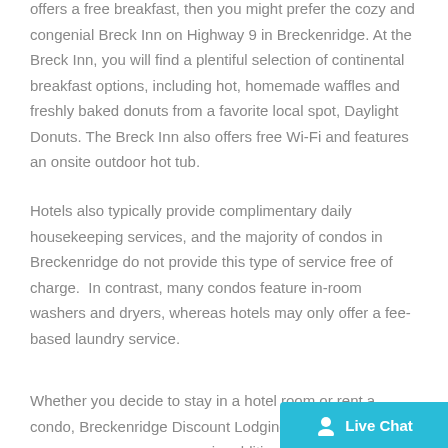offers a free breakfast, then you might prefer the cozy and congenial Breck Inn on Highway 9 in Breckenridge. At the Breck Inn, you will find a plentiful selection of continental breakfast options, including hot, homemade waffles and freshly baked donuts from a favorite local spot, Daylight Donuts. The Breck Inn also offers free Wi-Fi and features an onsite outdoor hot tub.
Hotels also typically provide complimentary daily housekeeping services, and the majority of condos in Breckenridge do not provide this type of service free of charge.  In contrast, many condos feature in-room washers and dryers, whereas hotels may only offer a fee-based laundry service.
Whether you decide to stay in a hotel room or rent a condo, Breckenridge Discount Lodging offers a va... rooms in addition to condominiums of all sizes. Give us a call
[Figure (other): Live Chat button in cyan/teal color with person icon]